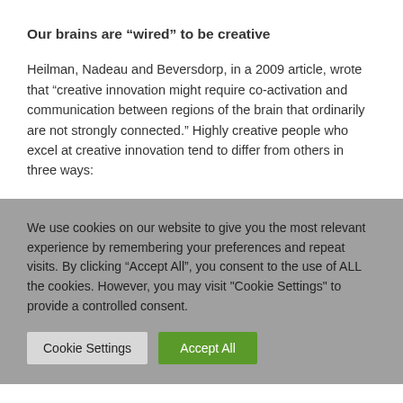Our brains are “wired” to be creative
Heilman, Nadeau and Beversdorp, in a 2009 article, wrote that “creative innovation might require co-activation and communication between regions of the brain that ordinarily are not strongly connected.” Highly creative people who excel at creative innovation tend to differ from others in three ways:
We use cookies on our website to give you the most relevant experience by remembering your preferences and repeat visits. By clicking “Accept All”, you consent to the use of ALL the cookies. However, you may visit "Cookie Settings" to provide a controlled consent.